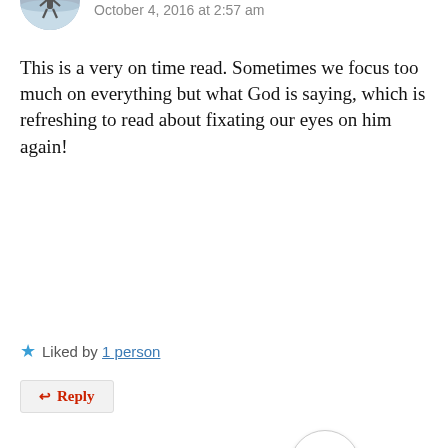you said about Jesus accepting us even in the midst of unacceptance from others! I love your passion. Much love to you, my friend!
★ Like
↩ Reply
cmumba
October 4, 2016 at 2:57 am
This is a very on time read. Sometimes we focus too much on everything but what God is saying, which is refreshing to read about fixating our eyes on him again!
★ Liked by 1 person
↩ Reply
[Figure (other): Hamburger menu button circle icon]
Melissa Applebee